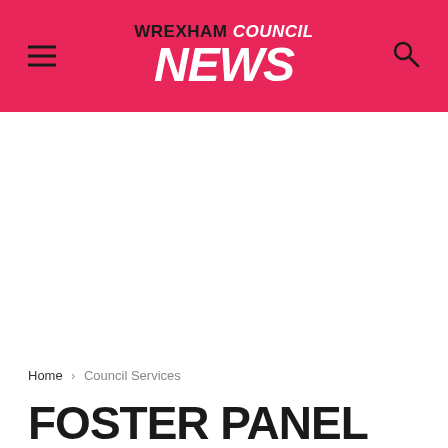WREXHAM COUNCIL NEWS
Home › Council Services
FOSTER PANEL